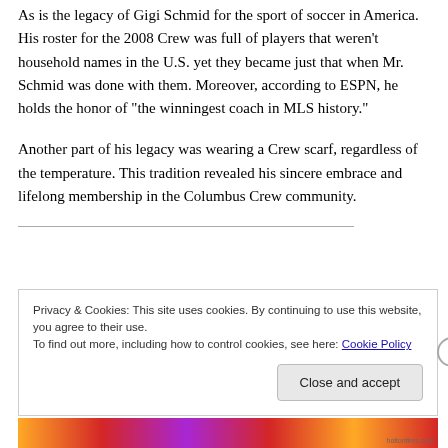As is the legacy of Gigi Schmid for the sport of soccer in America. His roster for the 2008 Crew was full of players that weren't household names in the U.S. yet they became just that when Mr. Schmid was done with them. Moreover, according to ESPN, he holds the honor of “the winningest coach in MLS history.”
Another part of his legacy was wearing a Crew scarf, regardless of the temperature. This tradition revealed his sincere embrace and lifelong membership in the Columbus Crew community.
Privacy & Cookies: This site uses cookies. By continuing to use this website, you agree to their use.
To find out more, including how to control cookies, see here: Cookie Policy